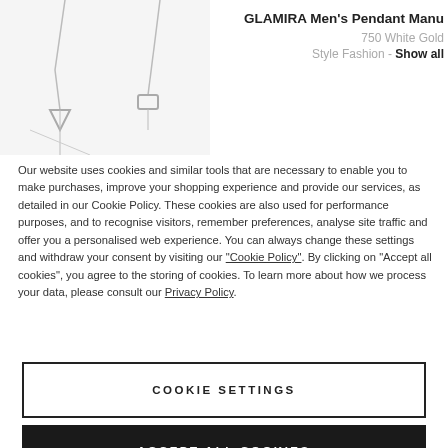[Figure (photo): Two silver pendant necklaces on white background — GLAMIRA Men's Pendant Manu]
GLAMIRA Men's Pendant Manu
750 White Gold
Style Fashion - Show all
Our website uses cookies and similar tools that are necessary to enable you to make purchases, improve your shopping experience and provide our services, as detailed in our Cookie Policy. These cookies are also used for performance purposes, and to recognise visitors, remember preferences, analyse site traffic and offer you a personalised web experience. You can always change these settings and withdraw your consent by visiting our “Cookie Policy”. By clicking on “Accept all cookies”, you agree to the storing of cookies. To learn more about how we process your data, please consult our Privacy Policy.
COOKIE SETTINGS
ACCEPT ALL COOKIES